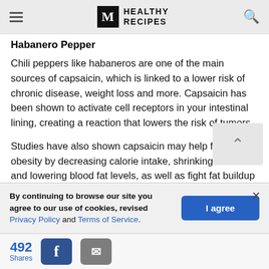M HEALTHY RECIPES
Habanero Pepper
Chili peppers like habaneros are one of the main sources of capsaicin, which is linked to a lower risk of chronic disease, weight loss and more. Capsaicin has been shown to activate cell receptors in your intestinal lining, creating a reaction that lowers the risk of tumors.
Studies have also shown capsaicin may help fight obesity by decreasing calorie intake, shrinking fat tissue and lowering blood fat levels, as well as fight fat buildup by triggering
By continuing to browse our site you agree to our use of cookies, revised Privacy Policy and Terms of Service.
492 Shares